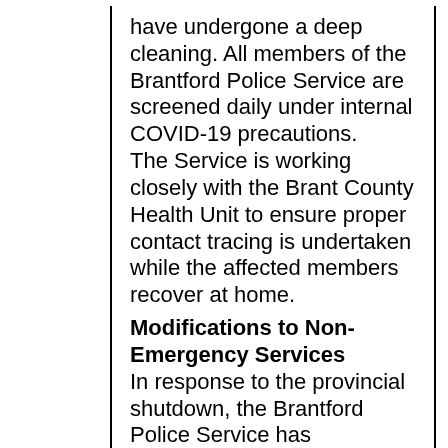have undergone a deep cleaning. All members of the Brantford Police Service are screened daily under internal COVID-19 precautions. The Service is working closely with the Brant County Health Unit to ensure proper contact tracing is undertaken while the affected members recover at home.
Modifications to Non-Emergency Services
In response to the provincial shutdown, the Brantford Police Service has temporarily modified some non-emergency services to help minimize the threat possibility of transmission of the virus. All emergency services remain in place. Please refrain from attending the BPS facility on Elgin Street unless facing an emergency situation. All citizens who require